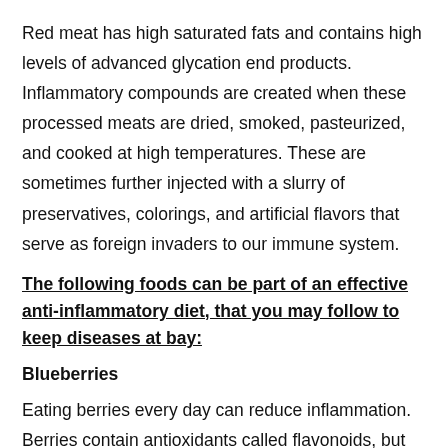Red meat has high saturated fats and contains high levels of advanced glycation end products. Inflammatory compounds are created when these processed meats are dried, smoked, pasteurized, and cooked at high temperatures. These are sometimes further injected with a slurry of preservatives, colorings, and artificial flavors that serve as foreign invaders to our immune system.
The following foods can be part of an effective anti-inflammatory diet, that you may follow to keep diseases at bay:
Blueberries
Eating berries every day can reduce inflammation. Berries contain antioxidants called flavonoids, but it's the anthocyanins that contribute to their anti-inflammatory effects